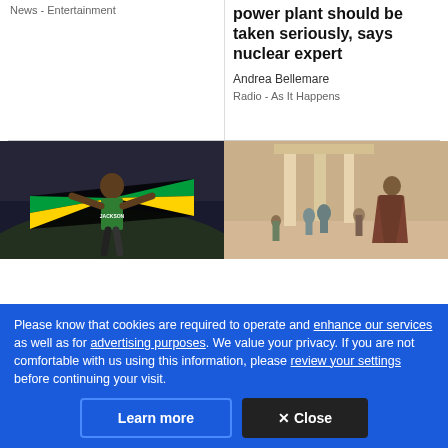News  -  Entertainment
power plant should be taken seriously, says nuclear expert
Andrea Bellemare
Radio  -  As It Happens
[Figure (photo): Female sprinter celebrating with Jamaican flag at a track and field event, wearing a JACKSON jersey]
[Figure (photo): Scene from a historical drama TV show, figures in ancient Roman or medieval costumes in a stone plaza]
Please know that cookies are required to operate and enhance our services as well as for advertising purposes. We value your privacy. If you are not comfortable with us using this information, please review your settings before continuing your visit.